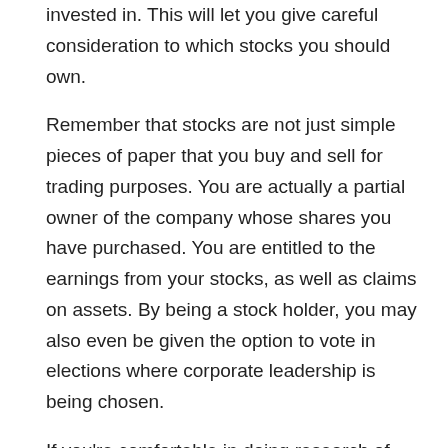invested in. This will let you give careful consideration to which stocks you should own.
Remember that stocks are not just simple pieces of paper that you buy and sell for trading purposes. You are actually a partial owner of the company whose shares you have purchased. You are entitled to the earnings from your stocks, as well as claims on assets. By being a stock holder, you may also even be given the option to vote in elections where corporate leadership is being chosen.
If you're comfortable in doing research of your own, then consider making use of an online broker. Online brokers charge much lower fees since you handle most of the research yourself. Since your aim is to make money, the lowest possible operating costs are always ideal.
Be aware of a limited recommendations and trading